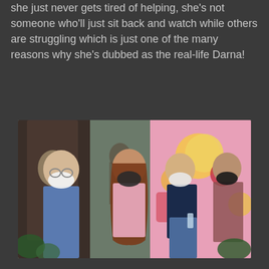she just never gets tired of helping, she's not someone who'll just sit back and watch while others are struggling which is just one of the many reasons why she's dubbed as the real-life Darna!
[Figure (photo): Group photo of several people wearing face masks standing together. On the left, a man in a blue denim shirt wearing glasses with a white mask. In the center, a woman with long reddish-brown hair wearing a dark patterned mask and pink top. Next to her, a woman in a dark navy blue t-shirt with a white mask. On the right, an older man with a black mask in a patterned shirt. Behind them is a colorful mural with cartoon characters in pink and yellow. There are plants and greenery visible.]